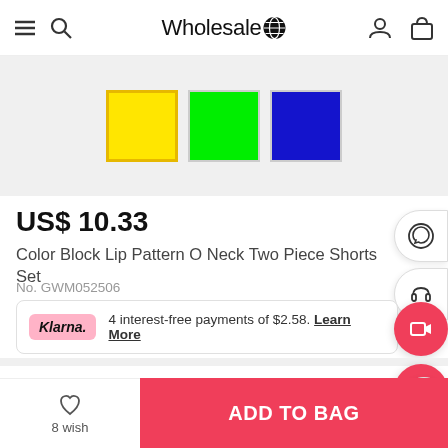Wholesale7 — navigation header with menu, search, logo, user and bag icons
[Figure (illustration): Three color swatches: yellow (selected, highlighted border), green, and blue]
US$ 10.33
Color Block Lip Pattern O Neck Two Piece Shorts Set
No. GWM052506
Klarna. 4 interest-free payments of $2.58. Learn More
Select   3 Color & 5 Size
Description >
Size Chart >
8 wish
ADD TO BAG